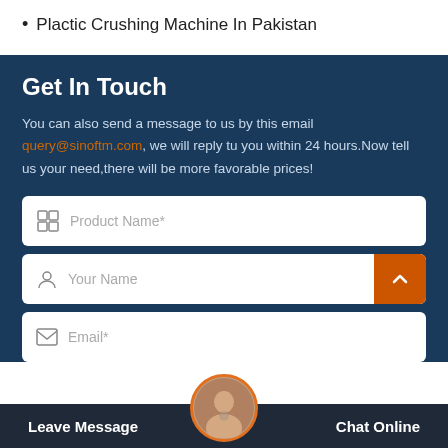Plactic Crushing Machine In Pakistan
Get In Touch
You can also send a message to us by this email query@sinoftm.com, we will reply tu you within 24 hours.Now tell us your need,there will be more favorable prices!
[Figure (screenshot): Contact form with Product Name, Your Name, and Email fields on dark blue background, with back-to-top orange button, chat avatar and bottom bar with Leave Message and Chat Online]
Leave Message  Chat Online